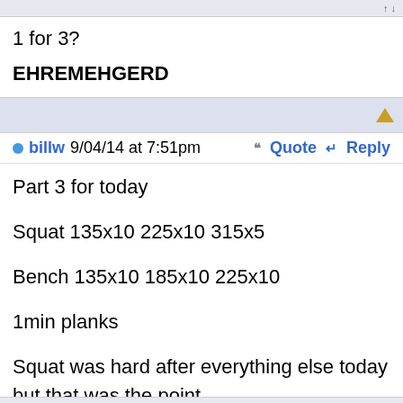1 for 3?
EHREMEHGERD
billw 9/04/14 at 7:51pm  Quote  Reply
Part 3 for today

Squat 135x10 225x10 315x5

Bench 135x10 185x10 225x10

1min planks

Squat was hard after everything else today but that was the point.